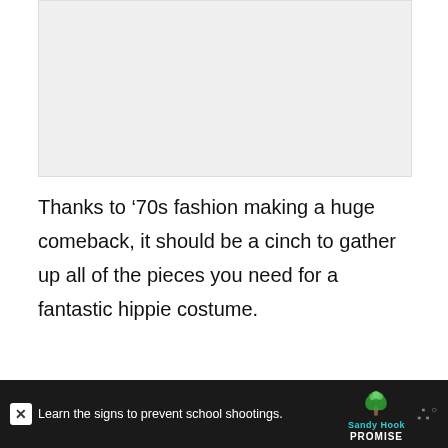[Figure (photo): Light gray image placeholder area at top of page]
Thanks to ‘70s fashion making a huge comeback, it should be a cinch to gather up all of the pieces you need for a fantastic hippie costume.
Start with a pair of bell bottom-shaped jeans and find your best tie-dye shirt to wear with them. Add fringe boots or platforms, then
[Figure (infographic): Social sharing widget with heart/like button showing 6.6K likes and a share button]
[Figure (screenshot): Advertisement bar at bottom: Sandy Hook Promise ad reading 'Learn the signs to prevent school shootings.' with tree logo and close button]